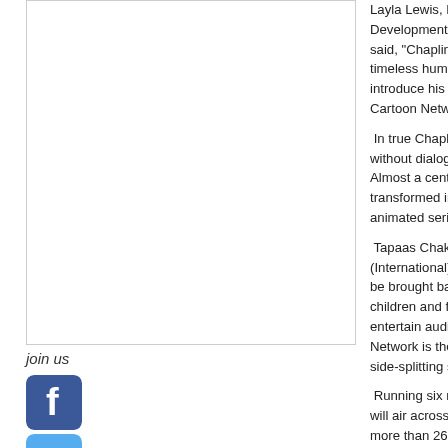[Figure (other): Left column bordered box area]
join us
[Figure (logo): Facebook social media icon button]
[Figure (logo): Twitter social media icon button]
[Figure (logo): LinkedIn social media icon button]
Layla Lewis, Director, Development, Turner Broa... said, "Chaplin and Co offers timeless humour and enc... introduce his comedic adver... Cartoon Network Asia Pacifi...
In true Chaplin style, Cha... without dialogue – reminis... Almost a century later, his transformed into a side-sp... animated series.
Tapaas Chakravarti, Chair... (International) Limited said, be brought back in high-en... children and families. The le... entertain audiences in his n... Network is the perfect partn... side-splitting series to audie...
Running six minutes long c... will air across all of Carto... more than 26 countries, from...